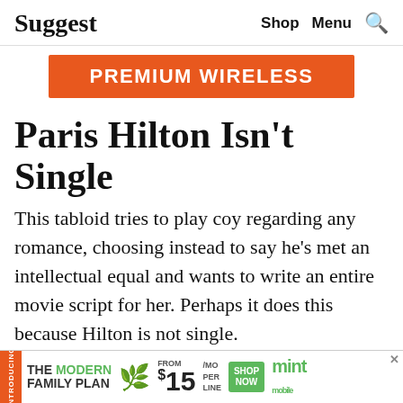Suggest  Shop  Menu
[Figure (infographic): PREMIUM WIRELESS orange advertisement banner]
Paris Hilton Isn't Single
This tabloid tries to play coy regarding any romance, choosing instead to say he's met an intellectual equal and wants to write an entire movie script for her. Perhaps it does this because Hilton is not single.
[Figure (screenshot): Instagram profile preview for parishilton with View profile button]
[Figure (infographic): Mint Mobile advertisement: THE MODERN FAMILY PLAN from $15/MO PER LINE SHOP NOW]